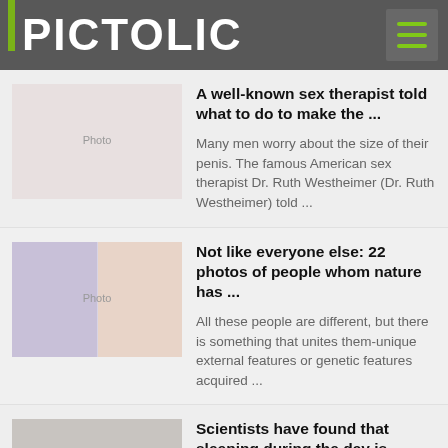PICTOLIC
A well-known sex therapist told what to do to make the ...
Many men worry about the size of their penis. The famous American sex therapist Dr. Ruth Westheimer (Dr. Ruth Westheimer) told ...
Not like everyone else: 22 photos of people whom nature has ...
All these people are different, but there is something that unites them-unique external features or genetic features acquired ...
Scientists have found that sleeping during the day is deadly
We are sure that taking a nap in the afternoon for an hour or two is useful for everyone. Such a dream, if a p can afford it, ...